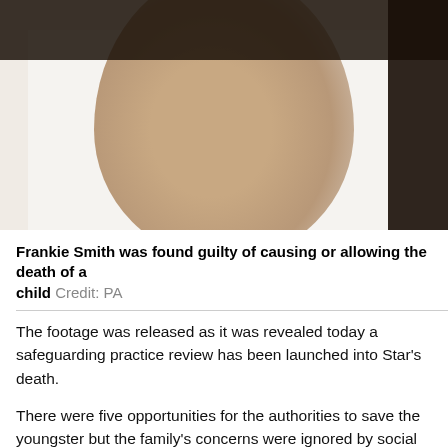[Figure (photo): Close-up photograph of a child's face, partially obscured, with dark hair visible at top and right side. The face appears blurred/pixelated for anonymity against a light background.]
Frankie Smith was found guilty of causing or allowing the death of a child Credit: PA
The footage was released as it was revealed today a safeguarding practice review has been launched into Star's death.
There were five opportunities for the authorities to save the youngster but the family's concerns were ignored by social workers and police.
Speaking outside court after today's verdict, Star's great grandfather David Fawcett said: "I'm just